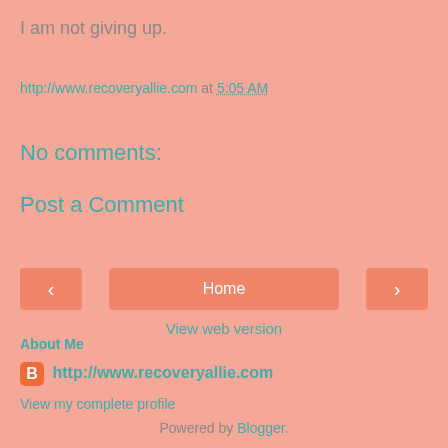I am not giving up.
http://www.recoveryallie.com at 5:05 AM
No comments:
Post a Comment
< Home > View web version
About Me
http://www.recoveryallie.com
View my complete profile
Powered by Blogger.